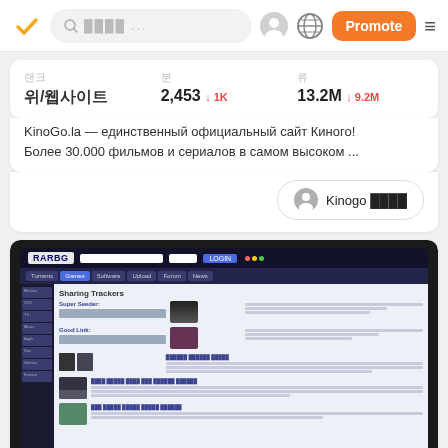Navigation bar with logo, search bar, profile icon, globe icon, Promote button, hamburger menu
| 렌크 | 분 | 류 |
| --- | --- | --- |
| 위/웹사이트 | 2,453 ↓1K | 13.2M ↓9.2M |
KinoGo.la — единственный официальный сайт Киного! Более 30.000 фильмов и сериалов в самом высоком ...
Kinogo 검색결과
[Figure (screenshot): Screenshot of the RARBG website showing its dark-themed interface with navigation bar, sidebar, and torrent listings with thumbnails.]